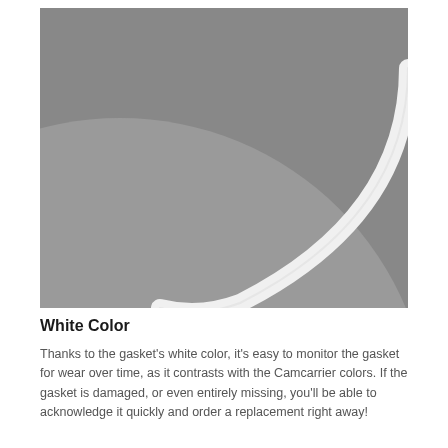[Figure (photo): Close-up photograph of a white circular gasket ring against a grey background. The gasket curves from the top-right corner diagonally down to the bottom-center of the image, showing a white rounded rubber or silicone O-ring shape on a medium grey surface.]
White Color
Thanks to the gasket's white color, it's easy to monitor the gasket for wear over time, as it contrasts with the Camcarrier colors. If the gasket is damaged, or even entirely missing, you'll be able to acknowledge it quickly and order a replacement right away!